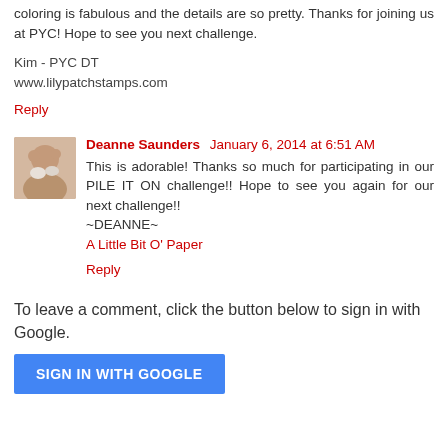coloring is fabulous and the details are so pretty. Thanks for joining us at PYC! Hope to see you next challenge.
Kim - PYC DT
www.lilypatchstamps.com
Reply
Deanne Saunders  January 6, 2014 at 6:51 AM
This is adorable! Thanks so much for participating in our PILE IT ON challenge!! Hope to see you again for our next challenge!!
~DEANNE~
A Little Bit O' Paper
Reply
To leave a comment, click the button below to sign in with Google.
SIGN IN WITH GOOGLE